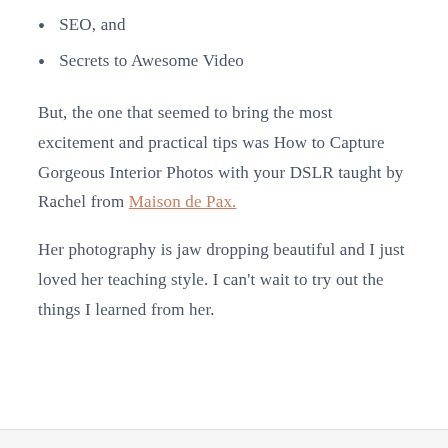SEO, and
Secrets to Awesome Video
But, the one that seemed to bring the most excitement and practical tips was How to Capture Gorgeous Interior Photos with your DSLR taught by Rachel from Maison de Pax.
Her photography is jaw dropping beautiful and I just loved her teaching style. I can't wait to try out the things I learned from her.